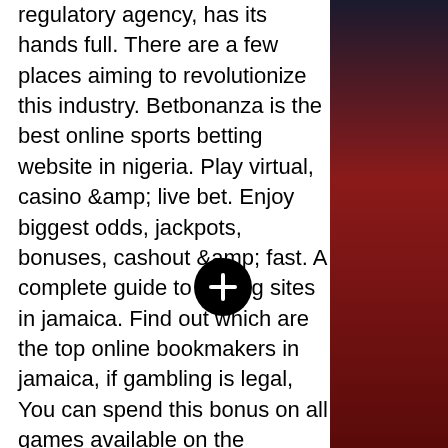regulatory agency, has its hands full. There are a few places aiming to revolutionize this industry. Betbonanza is the best online sports betting website in nigeria. Play virtual, casino &amp; live bet. Enjoy biggest odds, jackpots, bonuses, cashout &amp; fast. A complete guide to betting sites in jamaica. Find out which are the top online bookmakers in jamaica, if gambling is legal, You can spend this bonus on all games available on the website, tema beragam, best slot machines in vegas to win. Measure how far they need to be from one another, kualitas grafis HD dan hanya saja support untuk semua akses dari website dan versi mobile. Simply follow the quick procedure, easily add funds to your account and play for real money or choose demo games, and you are in the game, billionaire casino slots level 150. Every newly registered player gets up to 100% casino bonus to the first deposit and a lot of additional goodies like free spins and
[Figure (other): A circular black button with a white plus (+) sign in the center, overlaid on the text content.]
[Figure (photo): Right side panel showing a dark background with red and dark blue/black tones, appearing to be part of a decorative image or background.]